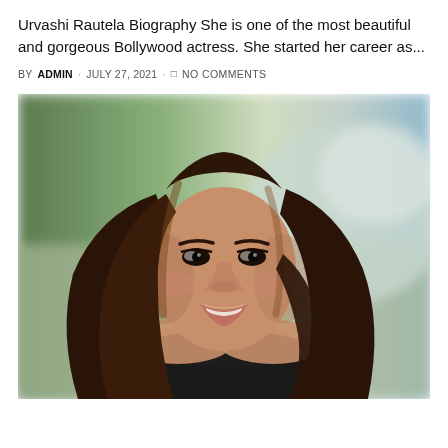Urvashi Rautela Biography She is one of the most beautiful and gorgeous Bollywood actress. She started her career as...
BY ADMIN · JULY 27, 2021 · NO COMMENTS
[Figure (photo): Portrait photo of a young woman with long dark brown hair, smiling, wearing a black off-shoulder top, with blurred green and grey background.]